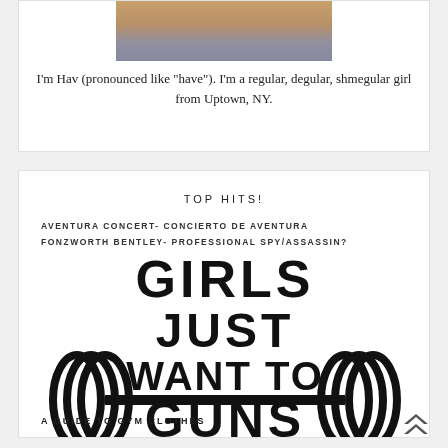[Figure (photo): Partial photo of a person wearing a mustard/yellow jacket and grey jeans from torso down]
I'm Hav (pronounced like "have"). I'm a regular, degular, shmegular girl from Uptown, NY.
TOP HITS!
AVENTURA CONCERT- CONCIERTO DE AVENTURA
FONZWORTH BENTLEY- PROFESSIONAL SPY/ASSASSIN?
[Figure (illustration): Girls Just Want To Have Guns gym illustration with barbells, text reading GIRLS JUST WANT TO HAVE [GUNS] and A GUIDE TO GYM CLOTHES]
[Figure (illustration): Back to top double chevron arrow icon]